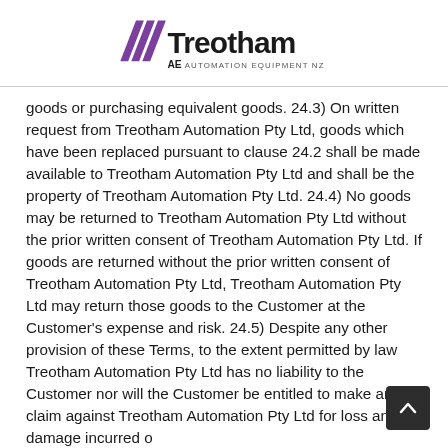Treotham Automation Equipment NZ
goods or purchasing equivalent goods. 24.3) On written request from Treotham Automation Pty Ltd, goods which have been replaced pursuant to clause 24.2 shall be made available to Treotham Automation Pty Ltd and shall be the property of Treotham Automation Pty Ltd. 24.4) No goods may be returned to Treotham Automation Pty Ltd without the prior written consent of Treotham Automation Pty Ltd. If goods are returned without the prior written consent of Treotham Automation Pty Ltd, Treotham Automation Pty Ltd may return those goods to the Customer at the Customer's expense and risk. 24.5) Despite any other provision of these Terms, to the extent permitted by law Treotham Automation Pty Ltd has no liability to the Customer nor will the Customer be entitled to make any claim against Treotham Automation Pty Ltd for loss and damage incurred or